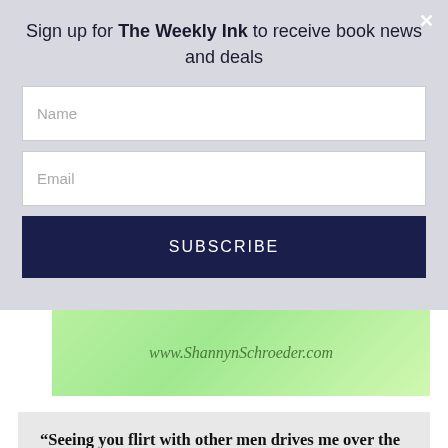Sign up for The Weekly Ink to receive book news and deals
[Figure (screenshot): Email signup form with Name field, Email field, and SUBSCRIBE button on light gray background]
www.ShannynSchroeder.com
“Seeing you flirt with other men drives me over the edge. I can’t concentrate on doing my job and being James Buchanan when all I can think about is being Jimmy and taking you up against